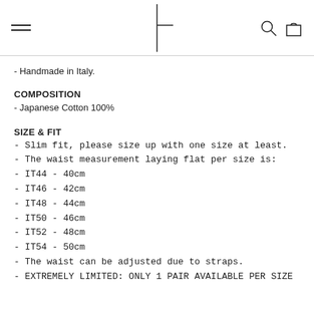Navigation header with hamburger menu, logo, search and cart icons
- Handmade in Italy.
COMPOSITION
- Japanese Cotton 100%
SIZE & FIT
- Slim fit, please size up with one size at least.
- The waist measurement laying flat per size is:
- IT44 - 40cm
- IT46 - 42cm
- IT48 - 44cm
- IT50 - 46cm
- IT52 - 48cm
- IT54 - 50cm
- The waist can be adjusted due to straps.
- EXTREMELY LIMITED: ONLY 1 PAIR AVAILABLE PER SIZE